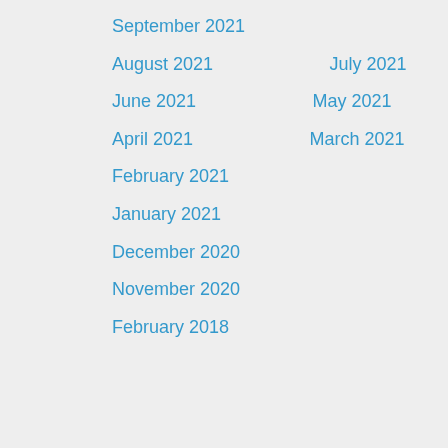September 2021
August 2021
July 2021
June 2021
May 2021
April 2021
March 2021
February 2021
January 2021
December 2020
November 2020
February 2018